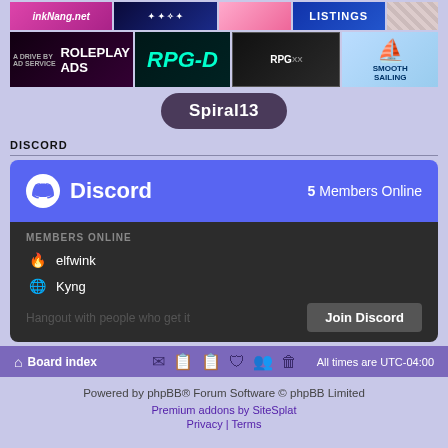[Figure (screenshot): Row of advertisement banner images: inkNang.net (pink), blue starfield banner, pink gradient, LISTINGS blue banner, diagonal stripe]
[Figure (screenshot): Row of advertisement banners: ROLEPLAY ADS (dark), RPG-D (teal text on dark), RPGXX (dark with figure), Smooth Sailing (light blue)]
[Figure (other): Spiral13 button/banner - dark purple pill-shaped button with white text]
DISCORD
[Figure (screenshot): Discord widget showing 5 Members Online. Members online: elfwink, Kyng. Join Discord button. Hangout with people who get it.]
Board index  All times are UTC-04:00
Powered by phpBB® Forum Software © phpBB Limited
Premium addons by SiteSplat
Privacy | Terms